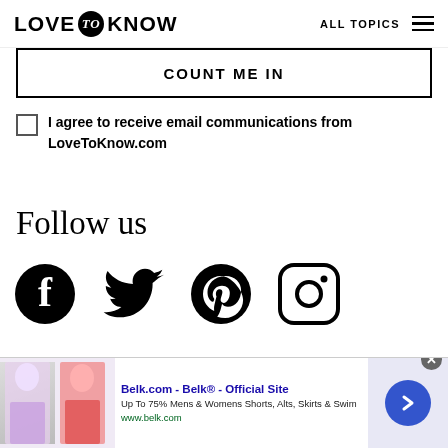LOVE to KNOW | ALL TOPICS
COUNT ME IN
I agree to receive email communications from LoveToKnow.com
Follow us
[Figure (illustration): Social media icons row: Facebook, Twitter, Pinterest, Instagram]
[Figure (screenshot): Advertisement banner: Belk.com - Belk® - Official Site. Up To 75% Mens & Womens Shorts, Alts, Skirts & Swim. www.belk.com]